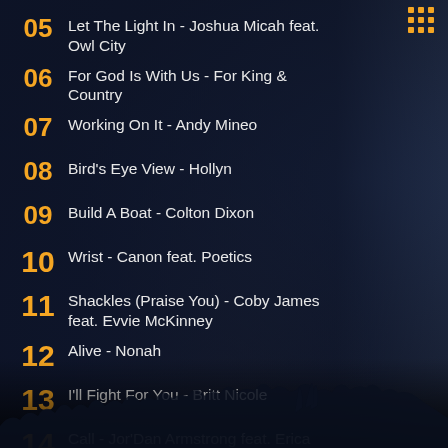05  Let The Light In - Joshua Micah feat. Owl City
06  For God Is With Us - For King & Country
07  Working On It - Andy Mineo
08  Bird's Eye View - Hollyn
09  Build A Boat - Colton Dixon
10  Wrist - Canon feat. Poetics
11  Shackles (Praise You) - Coby James feat. Evvie McKinney
12  Alive - Nonah
13  I'll Fight For You - Britt Nicole
14  Call - Jor'Dan Armstrong feat. Erica Campbell
15  Good Feeling - Austin French